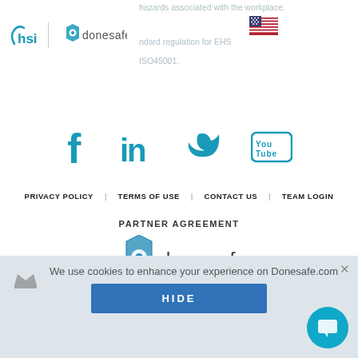[Figure (logo): HSI and donesafe combined logo in page header with US flag icon on right side]
hazards associated with the workplace.
ndard regulation for EHS
ISO45001.
[Figure (illustration): Social media icons row: Facebook (f), LinkedIn (in), Twitter bird, YouTube box]
PRIVACY POLICY   TERMS OF USE   CONTACT US   TEAM LOGIN
PARTNER AGREEMENT
[Figure (logo): Donesafe logo large — hexagon icon and donesafe text]
We use cookies to enhance your experience on Donesafe.com
HIDE